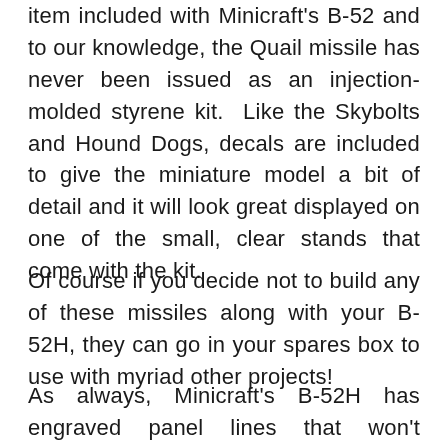item included with Minicraft's B-52 and to our knowledge, the Quail missile has never been issued as an injection-molded styrene kit.  Like the Skybolts and Hound Dogs, decals are included to give the miniature model a bit of detail and it will look great displayed on one of the small, clear stands that come with the kit.
Of course if you decide not to build any of these missiles along with your B-52H, they can go in your spares box to use with myriad other projects!
As always, Minicraft's B-52H has engraved panel lines that won't disappear under a couple layers of primer and paint.  Parts fit